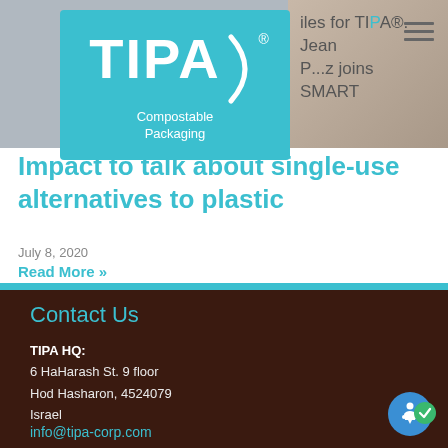[Figure (logo): TIPA Compostable Packaging logo on teal/cyan background with arc bracket shape]
D...iles for TIPA®. Jean P...z joins SMART Impact to talk about single-use alternatives to plastic
July 8, 2020
Read More »
Contact Us
TIPA HQ:
6 HaHarash St. 9 floor
Hod Hasharon, 4524079
Israel
info@tipa-corp.com